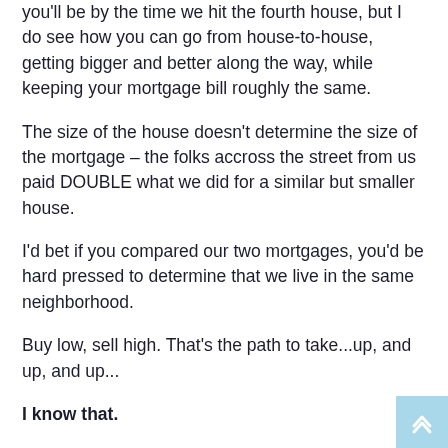you'll be by the time we hit the fourth house, but I do see how you can go from house-to-house, getting bigger and better along the way, while keeping your mortgage bill roughly the same.
The size of the house doesn't determine the size of the mortgage – the folks accross the street from us paid DOUBLE what we did for a similar but smaller house.
I'd bet if you compared our two mortgages, you'd be hard pressed to determine that we live in the same neighborhood.
Buy low, sell high. That's the path to take...up, and up, and up...
I know that.
Yet I sit in my first and only house today – knowing full well that I can technically afford something twice the size and, by now, could probably be in something three times the size.
The reasoning there is a bit more complicated, though, since I like